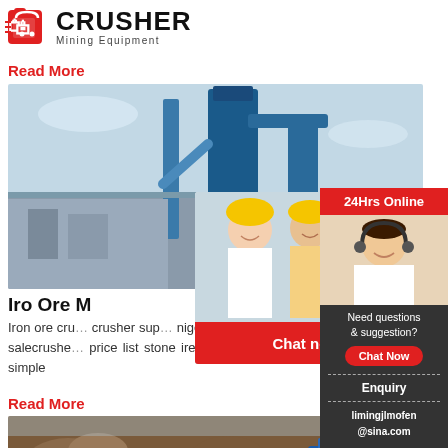[Figure (logo): Crusher Mining Equipment logo with red shopping bag icon and bold CRUSHER text]
Read More
[Figure (photo): Industrial mining equipment facility with blue silos and pipes against sky]
Iro Ore M...
Iron ore crusher supply nigeria iron ore processing plants for salecrusher price list stone ire ore mining nigeria Aug 25 20... simple
Read More
[Figure (photo): Rock and stone crushing operation with machinery]
[Figure (infographic): Live Chat popup with workers in hard hats, Chat now and Chat later buttons]
[Figure (infographic): Right sidebar showing 24Hrs Online banner, agent photo, Need questions & suggestion, Chat Now button, Enquiry, limingjlmofen@sina.com]